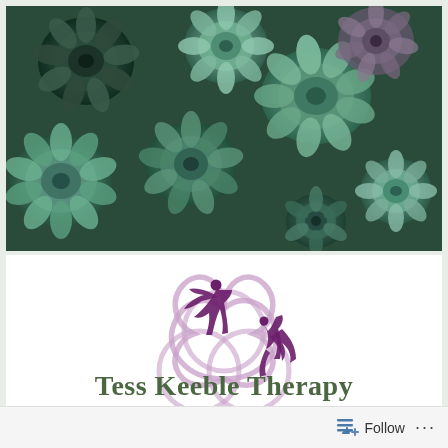[Figure (photo): Close-up photo of succulent plants with green and blue-green rosette leaves filling the frame]
[Figure (logo): Tess Keeble Therapy logo: a triquetra/trinity knot in light purple with two dark purple human figures in dynamic poses interacting across the knot]
Tess Keeble Therapy
- UKCP Registered Psychotherapist -
Follow ...